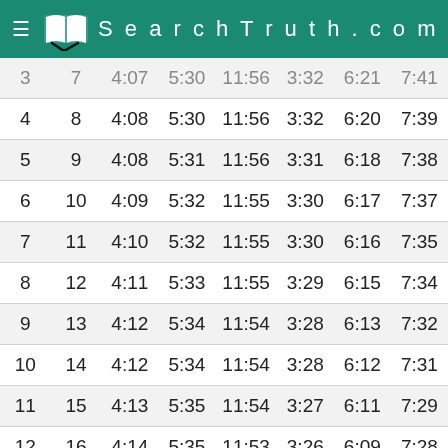SearchTruth.com
|  |  |  |  |  |  |  |  |
| --- | --- | --- | --- | --- | --- | --- | --- |
| 3 | 7 | 4:07 | 5:30 | 11:56 | 3:32 | 6:21 | 7:41 |
| 4 | 8 | 4:08 | 5:30 | 11:56 | 3:32 | 6:20 | 7:39 |
| 5 | 9 | 4:08 | 5:31 | 11:56 | 3:31 | 6:18 | 7:38 |
| 6 | 10 | 4:09 | 5:32 | 11:55 | 3:30 | 6:17 | 7:37 |
| 7 | 11 | 4:10 | 5:32 | 11:55 | 3:30 | 6:16 | 7:35 |
| 8 | 12 | 4:11 | 5:33 | 11:55 | 3:29 | 6:15 | 7:34 |
| 9 | 13 | 4:12 | 5:34 | 11:54 | 3:28 | 6:13 | 7:32 |
| 10 | 14 | 4:12 | 5:34 | 11:54 | 3:28 | 6:12 | 7:31 |
| 11 | 15 | 4:13 | 5:35 | 11:54 | 3:27 | 6:11 | 7:29 |
| 12 | 16 | 4:14 | 5:35 | 11:53 | 3:26 | 6:09 | 7:28 |
| 13 | 17 | 4:15 | 5:36 | 11:53 | 3:25 | 6:08 | 7:26 |